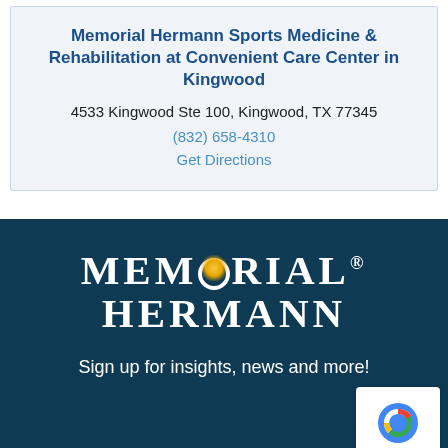Memorial Hermann Sports Medicine & Rehabilitation at Convenient Care Center in Kingwood
4533 Kingwood Ste 100, Kingwood, TX 77345
(832) 658-4310
Get Directions
[Figure (logo): Memorial Hermann logo with white serif text and golden glowing O on dark navy background]
Sign up for insights, news and more!